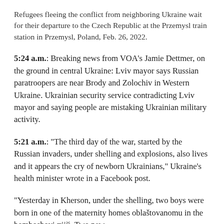Refugees fleeing the conflict from neighboring Ukraine wait for their departure to the Czech Republic at the Przemysl train station in Przemysl, Poland, Feb. 26, 2022.
5:24 a.m.: Breaking news from VOA's Jamie Dettmer, on the ground in central Ukraine: Lviv mayor says Russian paratroopers are near Brody and Zolochiv in Western Ukraine. Ukrainian security service contradicting Lviv mayor and saying people are mistaking Ukrainian military activity.
5:21 a.m.: "The third day of the war, started by the Russian invaders, under shelling and explosions, also lives and it appears the cry of newborn Ukrainians," Ukraine's health minister wrote in a Facebook post.
"Yesterday in Kherson, under the shelling, two boys were born in one of the maternity homes oblaštovanomu in the bomboshovi піій. Two new